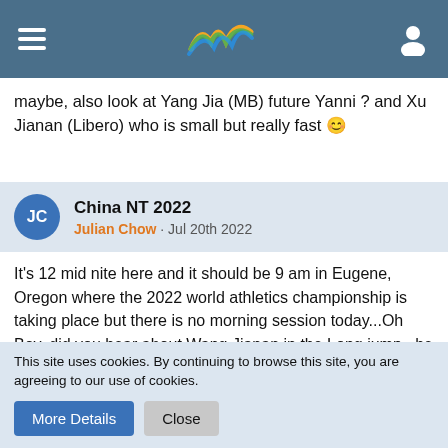Navigation header with hamburger menu, logo, and user icon
maybe, also look at Yang Jia (MB) future Yanni ? and Xu Jianan (Libero) who is small but really fast 😊
China NT 2022
Julian Chow · Jul 20th 2022
It's 12 mid nite here and it should be 9 am in Eugene, Oregon where the 2022 world athletics championship is taking place but there is no morning session today...Oh Boy, did you hear about Wang Jianan in the Long jump...he was out of it until his last jump !
As for China's performances in recent vb tournaments, I do agree with most of you that there's room for improvement. Yes, we
This site uses cookies. By continuing to browse this site, you are agreeing to our use of cookies.